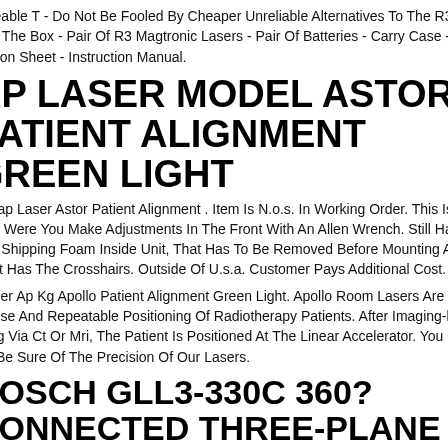adeable T - Do Not Be Fooled By Cheaper Unreliable Alternatives To The R3 em. - In The Box - Pair Of R3 Magtronic Lasers - Pair Of Batteries - Carry Case - uction Sheet - Instruction Manual.
AP LASER MODEL ASTOR PATIENT ALIGNMENT GREEN LIGHT
n Lap Laser Astor Patient Alignment . Item Is N.o.s. In Working Order. This Is The tyle Were You Make Adjustments In The Front With An Allen Wrench. Still Has ory Shipping Foam Inside Unit, That Has To Be Removed Before Mounting And Unit Has The Crosshairs. Outside Of U.s.a. Customer Pays Additional Cost.
Laser Ap Kg Apollo Patient Alignment Green Light. Apollo Room Lasers Are Used recise And Repeatable Positioning Of Radiotherapy Patients. After Imaging-base ning Via Ct Or Mri, The Patient Is Positioned At The Linear Accelerator. You Can ys Be Sure Of The Precision Of Our Lasers.
BOSCH GLL3-330C 360? CONNECTED THREE-PLANE LEVELING AND ALIGNMENT-LINE LASER
h Leveling Remote App Free To Download And Free To Use, This App Turns The ing Laser And Receiver Mode On And Off, Select The Laser Planes, Adjust Line lity And Provide Battery And Level Alerts.